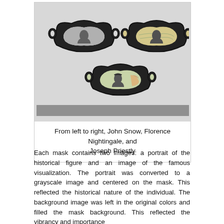[Figure (illustration): Three face masks arranged in a triangular layout. Top-left mask shows a grayscale portrait of John Snow on a light background with a visualization. Top-right mask shows a grayscale portrait of Joseph Priestly on a colorful map-like background. Center-bottom mask shows a grayscale portrait of Florence Nightingale on a colorful background with a visualization.]
From left to right, John Snow, Florence Nightingale, and Joseph Priestly
Each mask contains two images: a portrait of the historical figure and an image of the famous visualization. The portrait was converted to a grayscale image and centered on the mask. This reflected the historical nature of the individual. The background image was left in the original colors and filled the mask background. This reflected the vibrancy and importance of their related work...